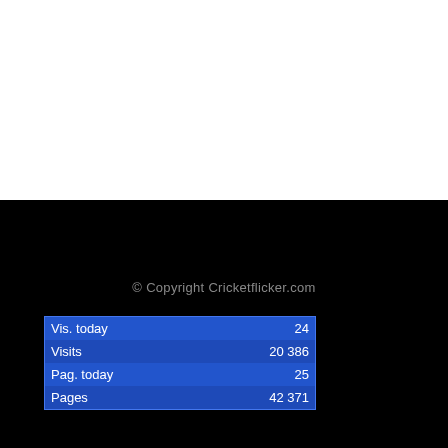© Copyright Cricketflicker.com
| Vis. today | 24 |
| Visits | 20 386 |
| Pag. today | 25 |
| Pages | 42 371 |